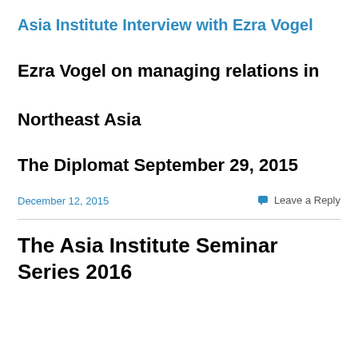Asia Institute Interview with Ezra Vogel
Ezra Vogel on managing relations in Northeast Asia
The Diplomat September 29, 2015
December 12, 2015
Leave a Reply
The Asia Institute Seminar Series 2016